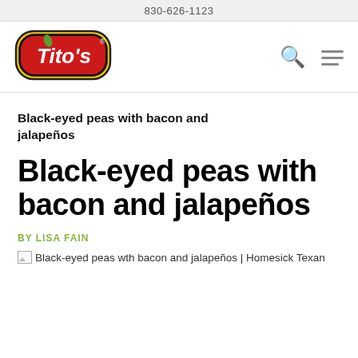830-626-1123
[Figure (logo): Tito's restaurant logo — red oval badge with yellow border and 'Tito's' in white script on red background, with small green leaf accent and registered trademark symbol]
Black-eyed peas with bacon and jalapeños
Black-eyed peas with bacon and jalapeños
BY LISA FAIN
[Figure (photo): Broken image placeholder for: Black-eyed peas wth bacon and jalapeños | Homesick Texan]